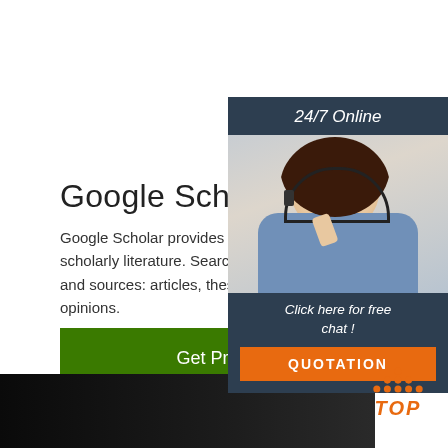Google Scholar
Google Scholar provides a simple way to broadly search scholarly literature. Search across a wide variety and sources: articles, theses, books, abstracts and opinions.
[Figure (other): Green 'Get Price' button]
[Figure (other): Side panel with '24/7 Online' header, photo of woman with headset, 'Click here for free chat!' text, and orange QUOTATION button]
[Figure (other): Dark bottom image area]
[Figure (other): Orange TOP label with dots/triangle logo at bottom right]